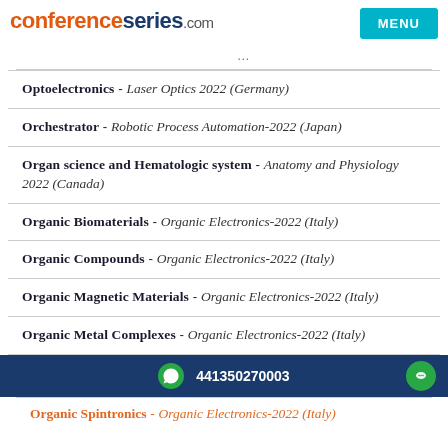conferenceseries.com
Optoelectronics - Laser Optics 2022 (Germany)
Orchestrator - Robotic Process Automation-2022 (Japan)
Organ science and Hematologic system - Anatomy and Physiology 2022 (Canada)
Organic Biomaterials - Organic Electronics-2022 (Italy)
Organic Compounds - Organic Electronics-2022 (Italy)
Organic Magnetic Materials - Organic Electronics-2022 (Italy)
Organic Metal Complexes - Organic Electronics-2022 (Italy)
441350270003
Organic Spintronics - Organic Electronics-2022 (Italy)